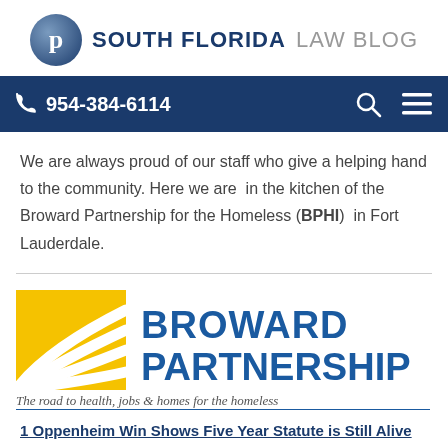SOUTH FLORIDA LAW BLOG
954-384-6114
We are always proud of our staff who give a helping hand to the community. Here we are  in the kitchen of the Broward Partnership for the Homeless (BPHI)  in Fort Lauderdale.
[Figure (logo): Broward Partnership logo with yellow road lines graphic and blue text reading BROWARD PARTNERSHIP, tagline: The road to health, jobs & homes for the homeless]
1 Oppenheim Win Shows Five Year Statute is Still Alive